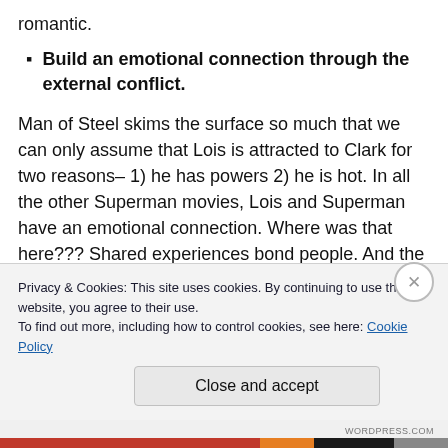romantic.
Build an emotional connection through the external conflict.
Man of Steel skims the surface so much that we can only assume that Lois is attracted to Clark for two reasons– 1) he has powers 2) he is hot. In all the other Superman movies, Lois and Superman have an emotional connection. Where was that here??? Shared experiences bond people. And the destruction of Metropolis, Smallville,
Privacy & Cookies: This site uses cookies. By continuing to use this website, you agree to their use.
To find out more, including how to control cookies, see here: Cookie Policy
Close and accept